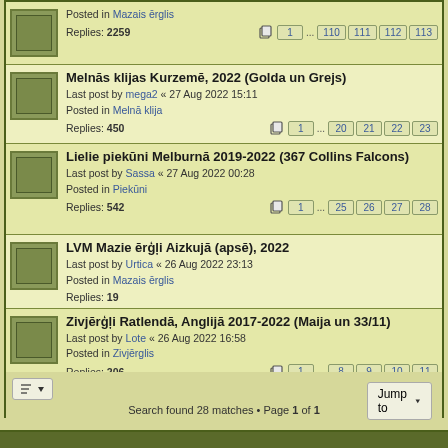Posted in Mazais ērglis
Replies: 2259
Pages: 1 ... 110 111 112 113
Melnās klijas Kurzemē, 2022 (Golda un Grejs)
Last post by mega2 « 27 Aug 2022 15:11
Posted in Melnā klija
Replies: 450
Pages: 1 ... 20 21 22 23
Lielie piekūni Melburnā 2019-2022 (367 Collins Falcons)
Last post by Sassa « 27 Aug 2022 00:28
Posted in Piekūni
Replies: 542
Pages: 1 ... 25 26 27 28
LVM Mazie ērģļi Aizkujā (apsē), 2022
Last post by Urtica « 26 Aug 2022 23:13
Posted in Mazais ērglis
Replies: 19
Zivjērģļi Ratlendā, Anglijā 2017-2022 (Maija un 33/11)
Last post by Lote « 26 Aug 2022 16:58
Posted in Zivjērglis
Replies: 206
Pages: 1 ... 8 9 10 11
Search found 28 matches • Page 1 of 1